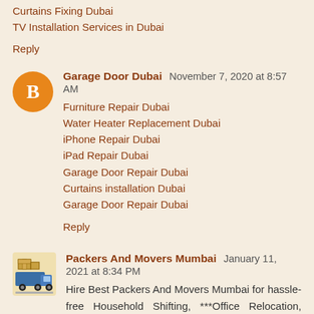Curtains Fixing Dubai
TV Installation Services in Dubai
Reply
Garage Door Dubai  November 7, 2020 at 8:57 AM
Furniture Repair Dubai
Water Heater Replacement Dubai
iPhone Repair Dubai
iPad Repair Dubai
Garage Door Repair Dubai
Curtains installation Dubai
Garage Door Repair Dubai
Reply
Packers And Movers Mumbai  January 11, 2021 at 8:34 PM
Hire Best Packers And Movers Mumbai for hassle-free Household Shifting, ***Office Relocation, ###Car Transporation, Loading Unloading, packing Unpacking at affordable ???Price Quotation. Top Rated, Safe and Secure